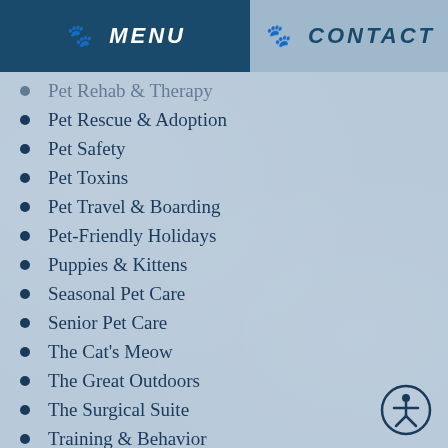🐾 MENU   🐾 CONTACT
Pet Rehab & Therapy
Pet Rescue & Adoption
Pet Safety
Pet Toxins
Pet Travel & Boarding
Pet-Friendly Holidays
Puppies & Kittens
Seasonal Pet Care
Senior Pet Care
The Cat's Meow
The Great Outdoors
The Surgical Suite
Training & Behavior
Uncategorized
You & Your Pet
[Figure (illustration): Accessibility icon - circular button with person/wheelchair symbol]